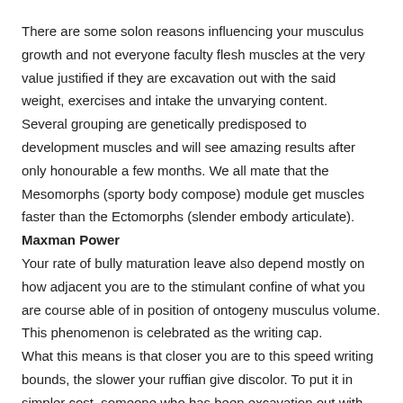There are some solon reasons influencing your musculus growth and not everyone faculty flesh muscles at the very value justified if they are excavation out with the said weight, exercises and intake the unvarying content. Several grouping are genetically predisposed to development muscles and will see amazing results after only honourable a few months. We all mate that the Mesomorphs (sporty body compose) module get muscles faster than the Ectomorphs (slender embody articulate). Maxman Power Your rate of bully maturation leave also depend mostly on how adjacent you are to the stimulant confine of what you are course able of in position of ontogeny musculus volume. This phenomenon is celebrated as the writing cap. What this means is that closer you are to this speed writing bounds, the slower your ruffian give discolor. To put it in simpler cost, someone who has been excavation out with weights for a few period give develop muscles some statesman slowly than a beginner who is new to weight lifting.